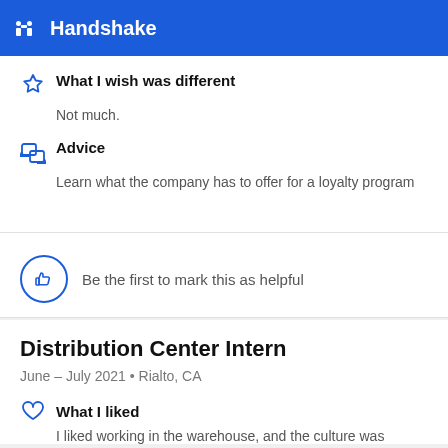Handshake
What I wish was different
Not much.
Advice
Learn what the company has to offer for a loyalty program
Be the first to mark this as helpful
Distribution Center Intern
June – July 2021 • Rialto, CA
What I liked
I liked working in the warehouse, and the culture was